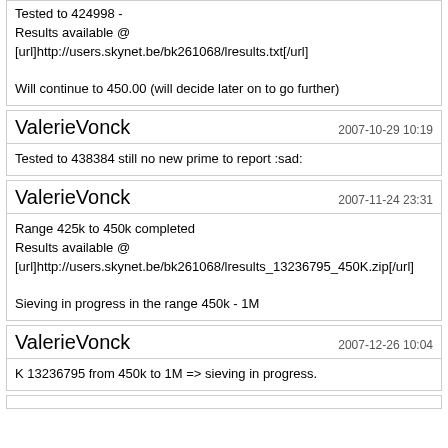Tested to 424998 - Results available @ [url]http://users.skynet.be/bk261068/lresults.txt[/url]

Will continue to 450.00 (will decide later on to go further)
ValerieVonck
2007-10-29 10:19
Tested to 438384 still no new prime to report :sad:
ValerieVonck
2007-11-24 23:31
Range 425k to 450k completed
Results available @
[url]http://users.skynet.be/bk261068/lresults_13236795_450K.zip[/url]

Sieving in progress in the range 450k - 1M
ValerieVonck
2007-12-26 10:04
K 13236795 from 450k to 1M => sieving in progress.